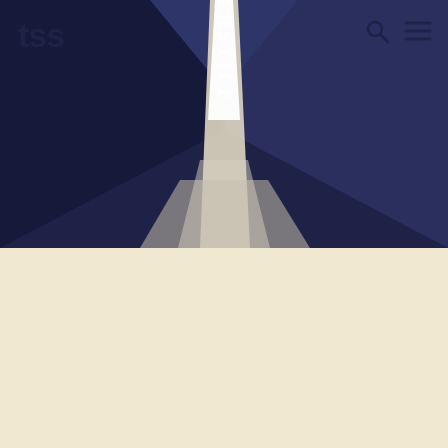[Figure (illustration): Dark navy blue geometric illustration showing a corridor or hallway with converging perspective lines and a beam of white light. The word INTERSTICE is written vertically along the central light beam. A navigation header with 'tss' logo on the left and search/menu icons on the right is overlaid on the illustration.]
drifting in and out
Writing from the interstice